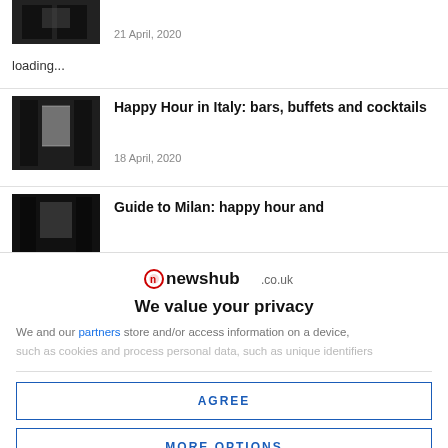[Figure (photo): Small thumbnail image of a dark interior (library/corridor) shown at top left]
21 April, 2020
loading...
[Figure (photo): Thumbnail image of a library interior with window]
Happy Hour in Italy: bars, buffets and cocktails
18 April, 2020
[Figure (photo): Thumbnail image of a dark library interior]
Guide to Milan: happy hour and
[Figure (logo): newshub.co.uk logo with red circle icon]
We value your privacy
We and our partners store and/or access information on a device.
such as cookies and process personal data, such as unique identifiers
AGREE
MORE OPTIONS